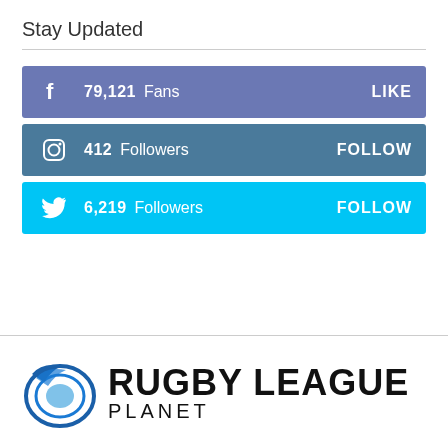Stay Updated
79,121 Fans  LIKE
412 Followers  FOLLOW
6,219 Followers  FOLLOW
[Figure (logo): Rugby League Planet logo with stylized globe/ball icon and bold text 'RUGBY LEAGUE PLANET']